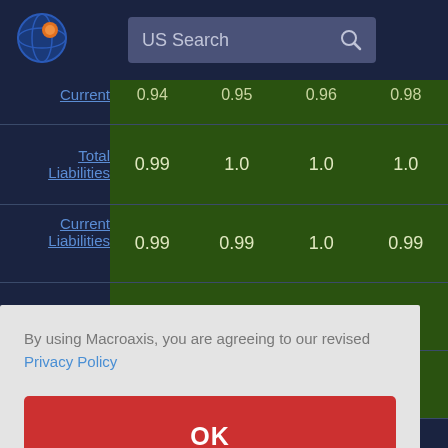[Figure (logo): Macroaxis globe logo - circular icon with blue and orange colors]
US Search
|  | Col1 | Col2 | Col3 | Col4 |
| --- | --- | --- | --- | --- |
| Current | 0.94 | 0.95 | 0.96 | 0.98 |
| Total Liabilities | 0.99 | 1.0 | 1.0 | 1.0 |
| Current Liabilities | 0.99 | 0.99 | 1.0 | 0.99 |
By using Macroaxis, you are agreeing to our revised Privacy Policy
OK